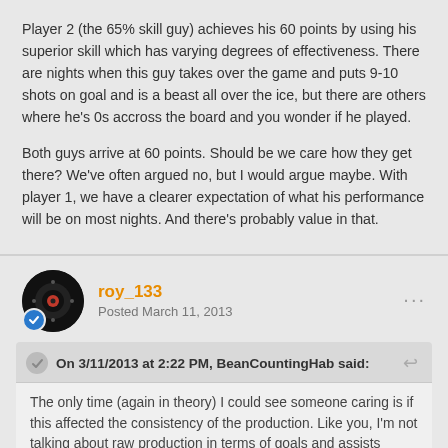Player 2 (the 65% skill guy) achieves his 60 points by using his superior skill which has varying degrees of effectiveness. There are nights when this guy takes over the game and puts 9-10 shots on goal and is a beast all over the ice, but there are others where he's 0s accross the board and you wonder if he played.
Both guys arrive at 60 points. Should be we care how they get there? We've often argued no, but I would argue maybe. With player 1, we have a clearer expectation of what his performance will be on most nights. And there's probably value in that.
roy_133 — Posted March 11, 2013
On 3/11/2013 at 2:22 PM, BeanCountingHab said:
The only time (again in theory) I could see someone caring is if this affected the consistency of the production. Like you, I'm not talking about raw production in terms of goals and assists